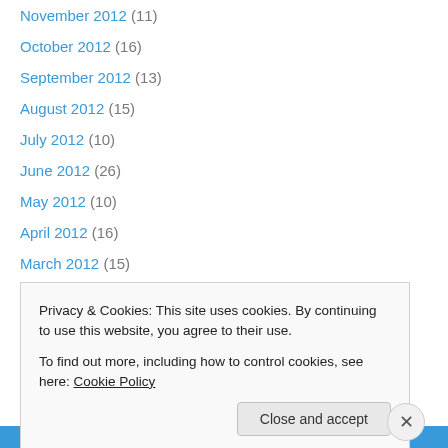November 2012 (11)
October 2012 (16)
September 2012 (13)
August 2012 (15)
July 2012 (10)
June 2012 (26)
May 2012 (10)
April 2012 (16)
March 2012 (15)
February 2012 (25)
January 2012 (20)
December 2011 (17)
November 2011 (11)
Privacy & Cookies: This site uses cookies. By continuing to use this website, you agree to their use.
To find out more, including how to control cookies, see here: Cookie Policy